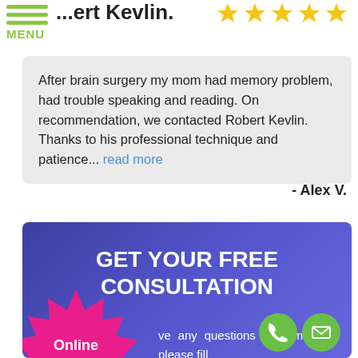MENU
...my recommend Robert Kevlin.
[Figure (illustration): Five gold/yellow star rating icons in a row]
After brain surgery my mom had memory problem, had trouble speaking and reading. On recommendation, we contacted Robert Kevlin. Thanks to his professional technique and patience... read more
- Alex V.
[Figure (infographic): Blue banner with 'GET YOUR FREE CONSULTATION' heading, text about filling a form, a pink starburst badge saying 'Online Teletherapy Available', and phone/email contact buttons]